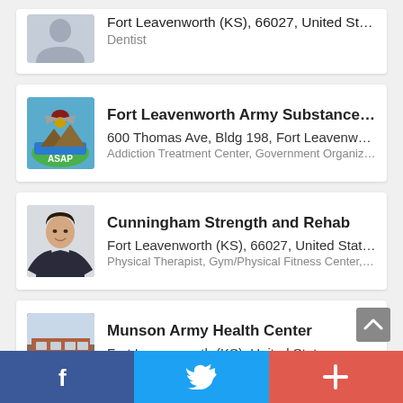[Figure (other): Partial listing card: Fort Leavenworth (KS), 66027, United States — Dentist, with placeholder avatar image]
[Figure (other): Listing card: Fort Leavenworth Army Substance Abuse Pr... — 600 Thomas Ave, Bldg 198, Fort Leavenworth (... — Addiction Treatment Center, Government Organization — ASAP logo]
[Figure (other): Listing card: Cunningham Strength and Rehab — Fort Leavenworth (KS), 66027, United States — Physical Therapist, Gym/Physical Fitness Center, Sports ... — photo of a woman]
[Figure (other): Listing card: Munson Army Health Center — Fort Leavenworth (KS), United States — Medical Center, Government Organization — photo of building]
Culture
f  (Facebook share)  Twitter share  + (more)